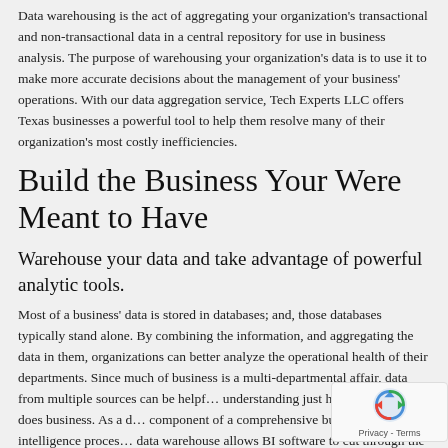Data warehousing is the act of aggregating your organization's transactional and non-transactional data in a central repository for use in business analysis. The purpose of warehousing your organization's data is to use it to make more accurate decisions about the management of your business' operations. With our data aggregation service, Tech Experts LLC offers Texas businesses a powerful tool to help them resolve many of their organization's most costly inefficiencies.
Build the Business Your Were Meant to Have
Warehouse your data and take advantage of powerful analytic tools.
Most of a business' data is stored in databases; and, those databases typically stand alone. By combining the information, and aggregating the data in them, organizations can better analyze the operational health of their departments. Since much of business is a multi-departmental affair, data from multiple sources can be helpf… understanding just how your company does business. As a d… component of a comprehensive business intelligence proces… data warehouse allows BI software to cut through the vagaries and